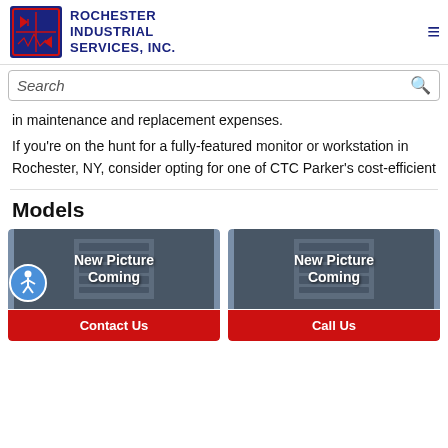Rochester Industrial Services, Inc.
in maintenance and replacement expenses.
If you're on the hunt for a fully-featured monitor or workstation in Rochester, NY, consider opting for one of CTC Parker's cost-efficient
Models
[Figure (photo): New Picture Coming placeholder image for product model card 1]
[Figure (photo): New Picture Coming placeholder image for product model card 2]